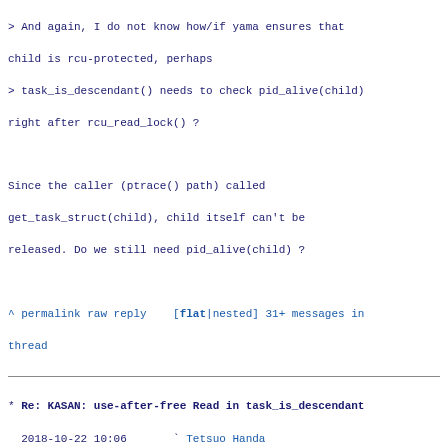> And again, I do not know how/if yama ensures that child is rcu-protected, perhaps
> task_is_descendant() needs to check pid_alive(child) right after rcu_read_lock() ?

Since the caller (ptrace() path) called get_task_struct(child), child itself can't be released. Do we still need pid_alive(child) ?

^ permalink raw reply   [flat|nested] 31+ messages in thread
* Re: KASAN: use-after-free Read in task_is_descendant
  2018-10-22 10:06       ` Tetsuo Handa
@ 2018-10-22 13:46       ` Oleg Nesterov
  2018-10-25  2:15         ` Tetsuo Handa
  0 siblings, 1 reply; 31+ messages in thread
From: Oleg Nesterov @ 2018-10-22 13:46 UTC (permalink / raw)
  To: Tetsuo Handa
  Cc: serge, syzbot, jmorris, keescook, linux-kernel,
      linux-security-module, syzkaller-bugs

On 10/22, Tetsuo Handa wrote:
>
> > However, task_is_descendant() looks unnecessarily complicated, it could be
> >
> >     static int task_is_descendant(struct task_struct *parent